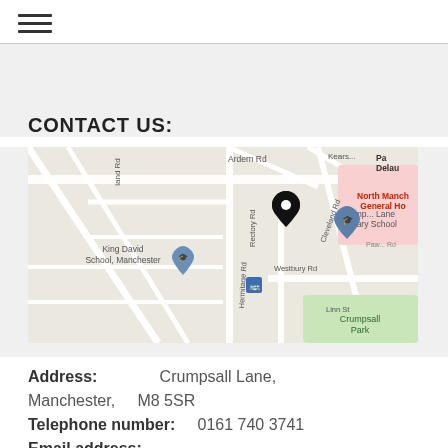≡
CONTACT US:
[Figure (map): Google Maps view showing Crumpsall Lane Primary School area in Manchester, with street labels including Ardern Rd, Rectory Rd, Hermitage Rd, Cleveland Rd, Westbury Rd, Linn St, King David School Manchester, North Manchester General Hospital, Crumpsall Park, and a location pin marker.]
Address: Crumpsall Lane, Manchester, M8 5SR
Telephone number: 0161 740 3741
Email address: